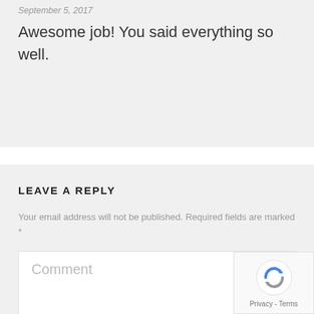September 5, 2017
Awesome job! You said everything so well.
LEAVE A REPLY
Your email address will not be published. Required fields are marked *
Comment